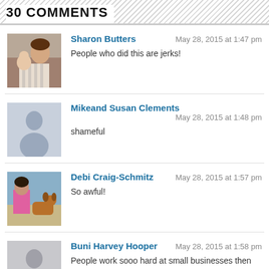30 COMMENTS
Sharon Butters
May 28, 2015 at 1:47 pm
People who did this are jerks!
Mikeand Susan Clements
May 28, 2015 at 1:48 pm
shameful
Debi Craig-Schmitz
May 28, 2015 at 1:57 pm
So awful!
Buni Harvey Hooper
May 28, 2015 at 1:58 pm
People work sooo hard at small businesses then for someone to hurt them is the pits!